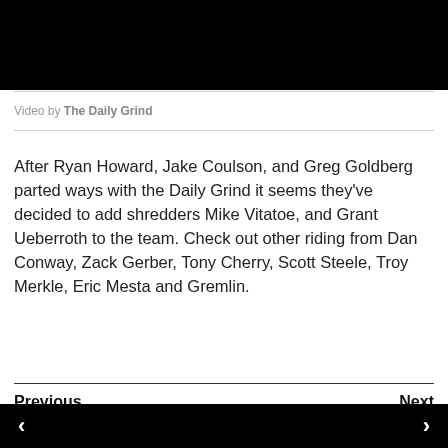[Figure (other): Black video player area at top of page]
Video by The Daily Grind
After Ryan Howard, Jake Coulson, and Greg Goldberg parted ways with the Daily Grind it seems they've decided to add shredders Mike Vitatoe, and Grant Ueberroth to the team. Check out other riding from Dan Conway, Zack Gerber, Tony Cherry, Scott Steele, Troy Merkle, Eric Mesta and Gremlin.
Previous   Next